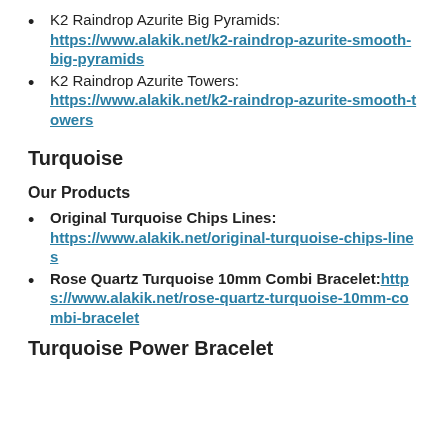K2 Raindrop Azurite Big Pyramids: https://www.alakik.net/k2-raindrop-azurite-smooth-big-pyramids
K2 Raindrop Azurite Towers: https://www.alakik.net/k2-raindrop-azurite-smooth-towers
Turquoise
Our Products
Original Turquoise Chips Lines: https://www.alakik.net/original-turquoise-chips-lines
Rose Quartz Turquoise 10mm Combi Bracelet: https://www.alakik.net/rose-quartz-turquoise-10mm-combi-bracelet
Turquoise Power Bracelet